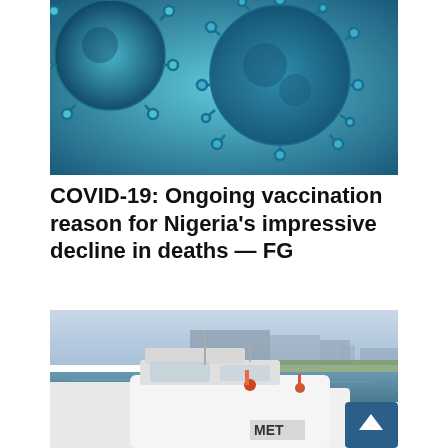[Figure (photo): Close-up microscope image of coronavirus (COVID-19) particles on a blue background]
COVID-19: Ongoing vaccination reason for Nigeria’s impressive decline in deaths — FG
[Figure (photo): White boats/ferries docked at a marina with industrial buildings in the background, partly visible MET text on one vessel]